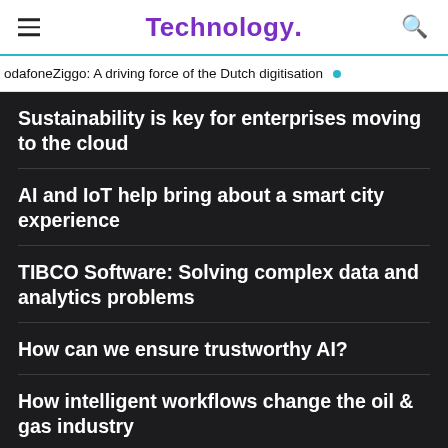Technology.
odafoneZiggo: A driving force of the Dutch digitisation
Sustainability is key for enterprises moving to the cloud
AI and IoT help bring about a smart city experience
TIBCO Software: Solving complex data and analytics problems
How can we ensure trustworthy AI?
How intelligent workflows change the oil & gas industry